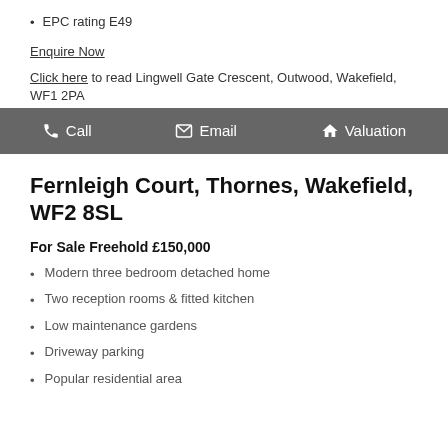EPC rating E49
Enquire Now
Click here to read Lingwell Gate Crescent, Outwood, Wakefield, WF1 2PA
Call   Email   Valuation
Fernleigh Court, Thornes, Wakefield, WF2 8SL
For Sale Freehold £150,000
Modern three bedroom detached home
Two reception rooms & fitted kitchen
Low maintenance gardens
Driveway parking
Popular residential area